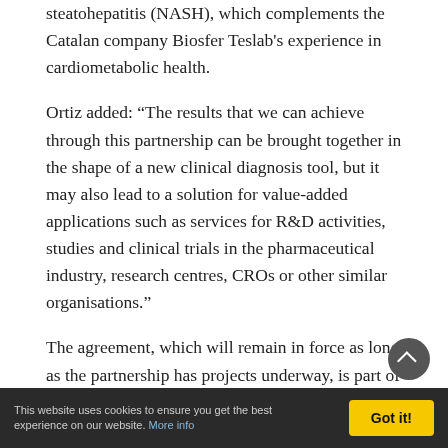steatohepatitis (NASH), which complements the Catalan company Biosfer Teslab's experience in cardiometabolic health.
Ortiz added: “The results that we can achieve through this partnership can be brought together in the shape of a new clinical diagnosis tool, but it may also lead to a solution for value-added applications such as services for R&D activities, studies and clinical trials in the pharmaceutical industry, research centres, CROs or other similar organisations.”
The agreement, which will remain in force as long as the partnership has projects underway, is part of OWL’s strategic collaborations with research centres such as CIC bioGUNE or BioDonostia and private businesses.
Tags